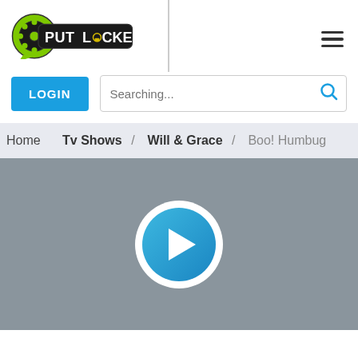[Figure (logo): Putlocker logo with film reel icon and text PUT LOCKER in a rounded rectangle border]
[Figure (other): Hamburger menu icon (three horizontal lines)]
[Figure (other): LOGIN button (blue) and search bar with placeholder 'Searching...' and blue magnifying glass icon]
Home  Tv Shows /  Will & Grace /  Boo! Humbug
[Figure (other): Video player placeholder with gray background and a large circular play button (blue with white triangle)]